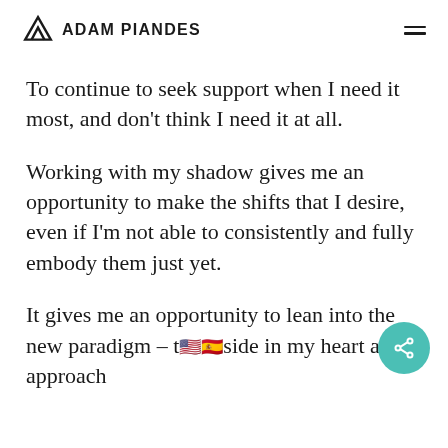ADAM PIANDES
To continue to seek support when I need it most, and don't think I need it at all.
Working with my shadow gives me an opportunity to make the shifts that I desire, even if I'm not able to consistently and fully embody them just yet.
It gives me an opportunity to lean into the new paradigm – to [flag emoji US][flag emoji Spain]side in my heart and approach